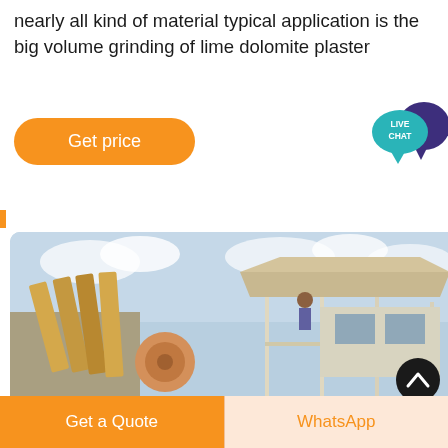Roller Mills Series TRM – 3T/H/H Suitable for nearly all kind of material typical application is the big volume grinding of lime dolomite plaster
[Figure (other): Orange rounded rectangle button labeled 'Get price']
[Figure (other): Live Chat speech bubble icon in teal and dark purple]
[Figure (photo): Industrial jaw crusher / roller mill machine installation at a construction site with blue sky background]
Get a Quote
WhatsApp